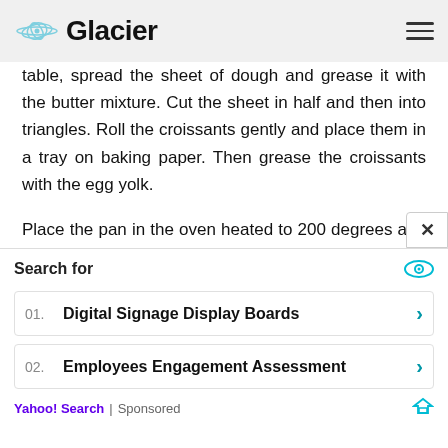Glacier
table, spread the sheet of dough and grease it with the butter mixture. Cut the sheet in half and then into triangles. Roll the croissants gently and place them in a tray on baking paper. Then grease the croissants with the egg yolk.
Place the pan in the oven heated to 200 degrees and let the croissants brown for 15 minutes. Ready! Good appetite!
150 gr biscuits, 70 ground nuts
Search for
01. Digital Signage Display Boards
02. Employees Engagement Assessment
Yahoo! Search | Sponsored